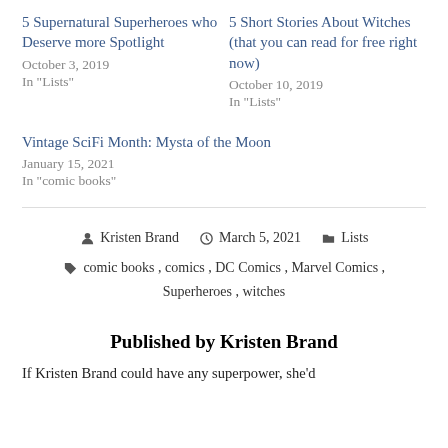5 Supernatural Superheroes who Deserve more Spotlight
October 3, 2019
In "Lists"
5 Short Stories About Witches (that you can read for free right now)
October 10, 2019
In "Lists"
Vintage SciFi Month: Mysta of the Moon
January 15, 2021
In "comic books"
Kristen Brand   March 5, 2021   Lists
comic books, comics, DC Comics, Marvel Comics, Superheroes, witches
Published by Kristen Brand
If Kristen Brand could have any superpower, she'd